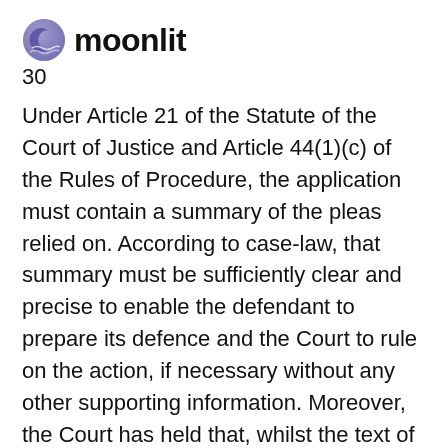moonlit
30
Under Article 21 of the Statute of the Court of Justice and Article 44(1)(c) of the Rules of Procedure, the application must contain a summary of the pleas relied on. According to case-law, that summary must be sufficiently clear and precise to enable the defendant to prepare its defence and the Court to rule on the action, if necessary without any other supporting information. Moreover, the Court has held that, whilst the text of the application may be supported by references to specific passages in documents annexed to it, a general reference to other documents, even those annexed to the application, cannot make up for the absence of the essential arguments in the application and that it